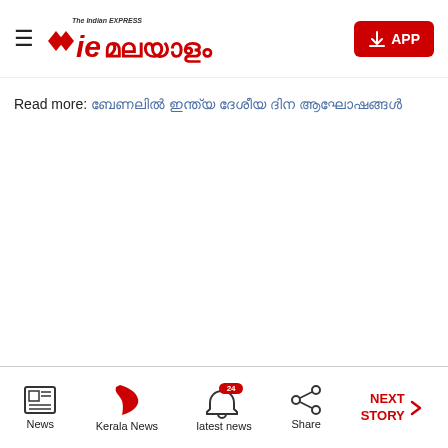ie മലയാളം
Read more: [Malayalam link text]
News | Kerala News | latest news 24 | Share | NEXT STORY